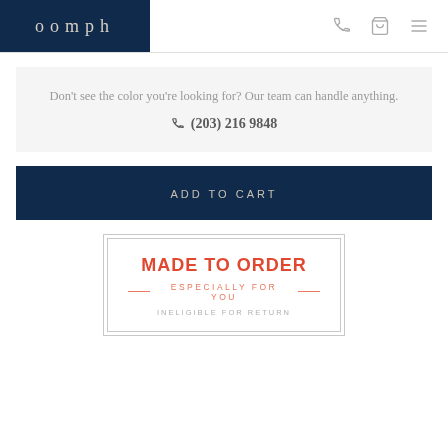oomph
Don't see the color you're looking for? Our team can handle anything.
☎ (203) 216 9848
ADD TO CART
[Figure (infographic): Made to Order badge with text: MADE TO ORDER — ESPECIALLY FOR YOU — INELIGIBLE FOR RETURN]
MADE TO ORDER — ESPECIALLY FOR YOU — INELIGIBLE FOR RETURN